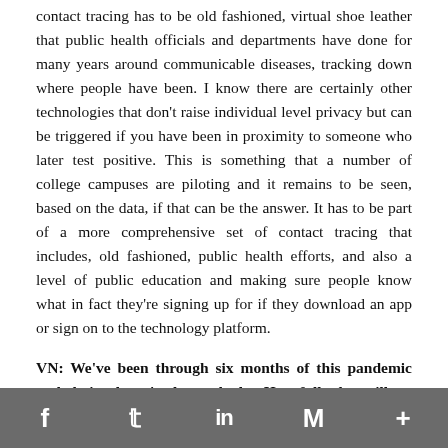contact tracing has to be old fashioned, virtual shoe leather that public health officials and departments have done for many years around communicable diseases, tracking down where people have been. I know there are certainly other technologies that don't raise individual level privacy but can be triggered if you have been in proximity to someone who later test positive. This is something that a number of college campuses are piloting and it remains to be seen, based on the data, if that can be the answer. It has to be part of a more comprehensive set of contact tracing that includes, old fashioned, public health efforts, and also a level of public education and making sure people know what in fact they're signing up for if they download an app or sign on to the technology platform.
VN: We've been through six months of this pandemic and obviously we've learned a lot. Hopefully that will get put into place for the next time this happened. What are some of those lessons that we've learned and how can we implement them
f  [Twitter]  in  M  +